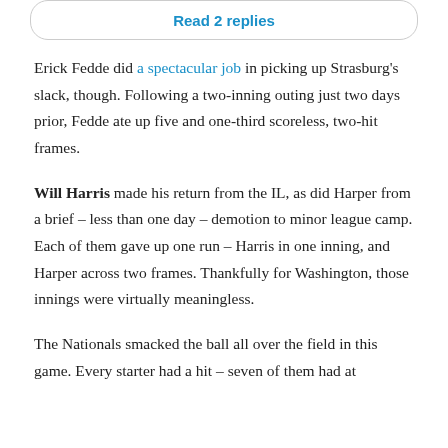Read 2 replies
Erick Fedde did a spectacular job in picking up Strasburg's slack, though. Following a two-inning outing just two days prior, Fedde ate up five and one-third scoreless, two-hit frames.
Will Harris made his return from the IL, as did Harper from a brief – less than one day – demotion to minor league camp. Each of them gave up one run – Harris in one inning, and Harper across two frames. Thankfully for Washington, those innings were virtually meaningless.
The Nationals smacked the ball all over the field in this game. Every starter had a hit – seven of them had at